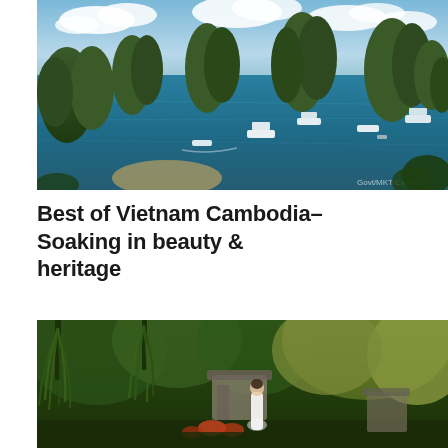[Figure (photo): Aerial view of Ha Long Bay, Vietnam, showing limestone karst islands rising from vivid blue-green water, with several cruise boats and vessels scattered across the bay. Blue sky with white clouds above.]
Best of Vietnam Cambodia- Soaking in beauty & heritage
[Figure (photo): A woman in a white outfit standing in a lush green garden with hanging willow-like trees, with a decorative stone structure in the background and colorful flowers.]